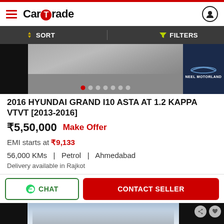CarTrade
SORT   FILTERS
[Figure (screenshot): Car listing image area showing road/car photo and Neel Motorland dealer badge with pagination dots]
2016 HYUNDAI GRAND I10 ASTA AT 1.2 KAPPA VTVT [2013-2016]
₹5,50,000   Make Offer
EMI starts at ₹9,133
56,000 KMs  |  Petrol  |  Ahmedabad
Delivery available in Rajkot
CHAT   CONTACT SELLER
[Figure (photo): Bottom portion of next car listing photo showing building/construction site against cloudy sky, with share and favorite action buttons]